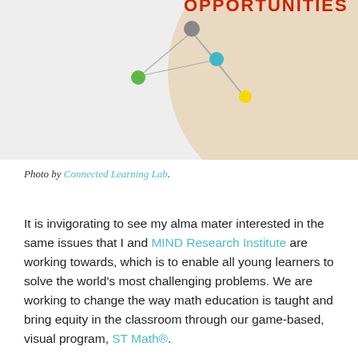[Figure (illustration): Partial view of a connected learning infographic showing a beige circle with colored node dots (green, blue, yellow) connected by lines, and red text 'OPPORTUNITIES' partially visible at top right.]
Photo by Connected Learning Lab.
It is invigorating to see my alma mater interested in the same issues that I and MIND Research Institute are working towards, which is to enable all young learners to solve the world's most challenging problems. We are working to change the way math education is taught and bring equity in the classroom through our game-based, visual program, ST Math®.